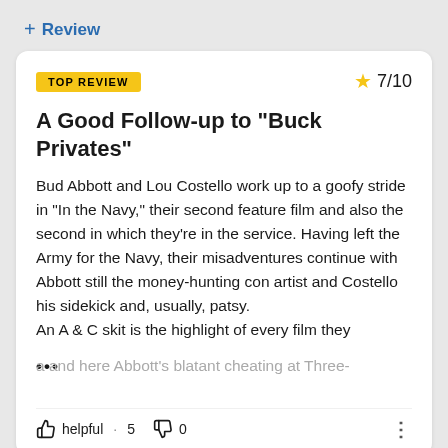+ Review
TOP REVIEW
7/10
A Good Follow-up to "Buck Privates"
Bud Abbott and Lou Costello work up to a goofy stride in "In the Navy," their second feature film and also the second in which they're in the service. Having left the Army for the Navy, their misadventures continue with Abbott still the money-hunting con artist and Costello his sidekick and, usually, patsy.
An A & C skit is the highlight of every film they ... a and here Abbott's blatant cheating at Three-
helpful · 5    0